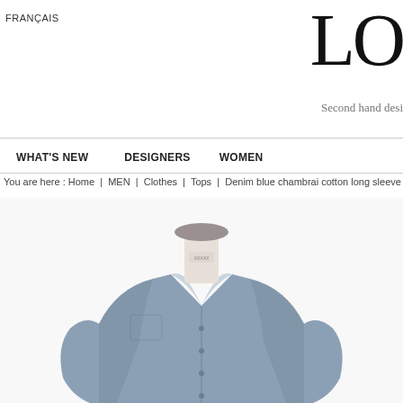FRANÇAIS
LO
Second hand desi
WHAT&#039;S NEW   DESIGNERS   WOMEN
You are here : Home | MEN | Clothes | Tops | Denim blue chambrai cotton long sleeve
[Figure (photo): A white dress mannequin torso wearing a denim blue chambray cotton long sleeve shirt, displayed on a white background. The shirt has a classic collar, button front, and chest pocket.]